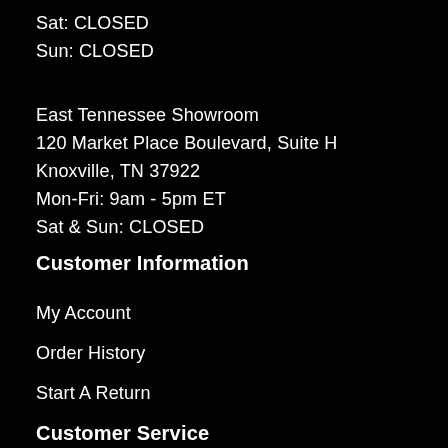Sat: CLOSED
Sun: CLOSED
East Tennessee Showroom
120 Market Place Boulevard, Suite H
Knoxville, TN 37922
Mon-Fri: 9am - 5pm ET
Sat & Sun: CLOSED
Customer Information
My Account
Order History
Start A Return
Customer Service